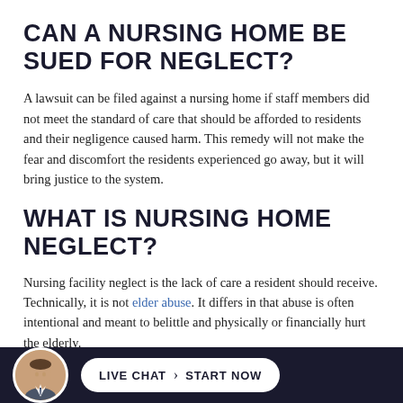CAN A NURSING HOME BE SUED FOR NEGLECT?
A lawsuit can be filed against a nursing home if staff members did not meet the standard of care that should be afforded to residents and their negligence caused harm. This remedy will not make the fear and discomfort the residents experienced go away, but it will bring justice to the system.
WHAT IS NURSING HOME NEGLECT?
Nursing facility neglect is the lack of care a resident should receive. Technically, it is not elder abuse. It differs in that abuse is often intentional and meant to belittle and physically or financially hurt the elderly.
[Figure (photo): Bottom bar with attorney avatar photo and live chat button reading LIVE CHAT > START NOW on dark navy background]